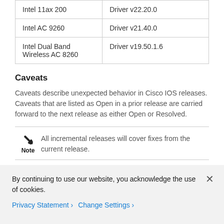| Intel 11ax 200 | Driver v22.20.0 |
| Intel AC 9260 | Driver v21.40.0 |
| Intel Dual Band Wireless AC 8260 | Driver v19.50.1.6 |
Caveats
Caveats describe unexpected behavior in Cisco IOS releases. Caveats that are listed as Open in a prior release are carried forward to the next release as either Open or Resolved.
Note: All incremental releases will cover fixes from the current release.
By continuing to use our website, you acknowledge the use of cookies.
Privacy Statement > Change Settings >